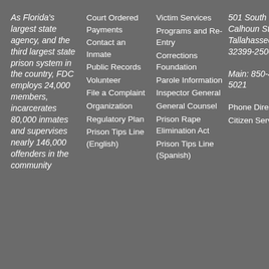As Florida's largest state agency, and the third largest state prison system in the country, FDC employs 24,000 members, incarcerates 80,000 inmates and supervises nearly 146,000 offenders in the community
Court Ordered Payments
Contact an Inmate
Public Records
Volunteer
File a Complaint
Organization
Regulatory Plan
Prison Tips Line (English)
Victim Services
Programs and Re-Entry
Corrections Foundation
Parole Information
Inspector General
General Counsel
Prison Rape Elimination Act
Prison Tips Line (Spanish)
501 South Calhoun Street Tallahassee, FL 32399-2500
Main: 850-488-5021
Phone Directory
Citizen Services